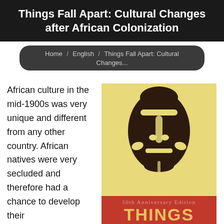Things Fall Apart: Cultural Changes after African Colonization
Home / English / Things Fall Apart: Cultural Changes...
African culture in the mid-1900s was very unique and different from any other country. African natives were very secluded and therefore had a chance to develop their
[Figure (illustration): Book cover of Things Fall Apart, 50th Anniversary Edition. Yellow background with a dark stylized African mask illustration. Red band at the bottom with text '50th Anniversary Edition' and 'THINGS' in large yellow letters.]